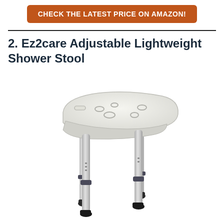CHECK THE LATEST PRICE ON AMAZON!
2. Ez2care Adjustable Lightweight Shower Stool
[Figure (photo): Ez2care Adjustable Lightweight Shower Stool product photo — a white molded plastic seat with drainage holes resting on four adjustable aluminum legs with dark rubber non-slip tips and adjustable height clips]